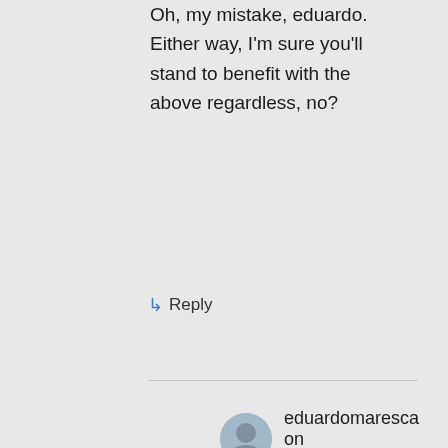Oh, my mistake, eduardo. Either way, I'm sure you'll stand to benefit with the above regardless, no?
↳ Reply
eduardomaresca on January 2, 2019 at 1:06 am
Sure!
↳ Reply
LCpl_X